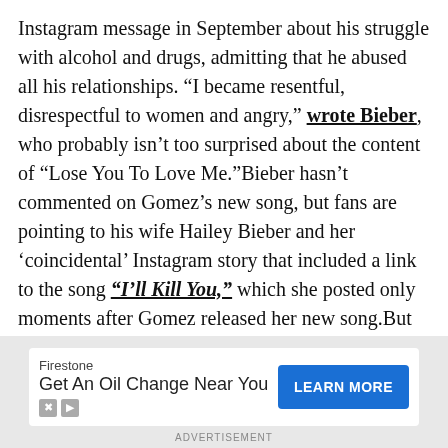Instagram message in September about his struggle with alcohol and drugs, admitting that he abused all his relationships. “I became resentful, disrespectful to women and angry,” wrote Bieber, who probably isn’t too surprised about the content of “Lose You To Love Me.”Bieber hasn’t commented on Gomez’s new song, but fans are pointing to his wife Hailey Bieber and her ‘coincidental’ Instagram story that included a link to the song “I’ll Kill You,” which she posted only moments after Gomez released her new song.But there are some who believe that Gomez and Bieber will be forever connected despite the drama and Hailey feels threatened. Marci Ien, one of the hosts on The Social, mentioned in a recent episode tha
[Figure (screenshot): Advertisement banner: Firestone - Get An Oil Change Near You with a blue LEARN MORE button]